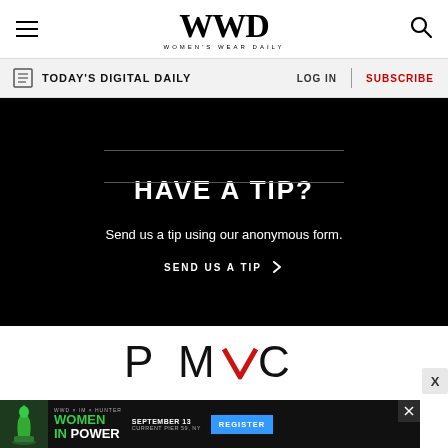WWD WOMEN'S WEAR DAILY
TODAY'S DIGITAL DAILY
LOG IN
SUBSCRIBE
HAVE A TIP?
Send us a tip using our anonymous form.
SEND US A TIP
[Figure (logo): PMC logo with red chevron accent]
[Figure (infographic): Women in Power event ad banner with chess queen piece, September 13, Current Pier 59 NY, Register button]